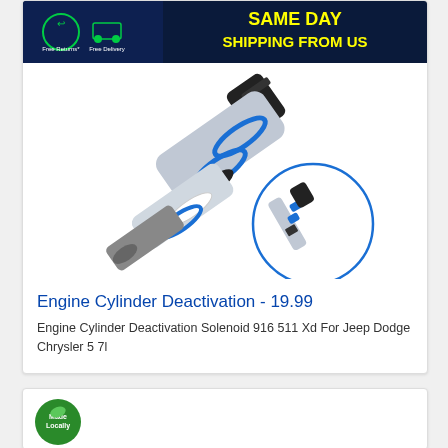[Figure (illustration): Same Day Shipping From Us banner with free returns and free delivery icons, dark blue background with yellow text]
[Figure (photo): Engine Cylinder Deactivation Solenoid product photo showing a cylindrical solenoid with blue O-rings and a smaller inset image in a blue circle]
Engine Cylinder Deactivation - 19.99
Engine Cylinder Deactivation Solenoid 916 511 Xd For Jeep Dodge Chrysler 5 7l
[Figure (logo): Green circular logo at the bottom of the page (partially visible)]